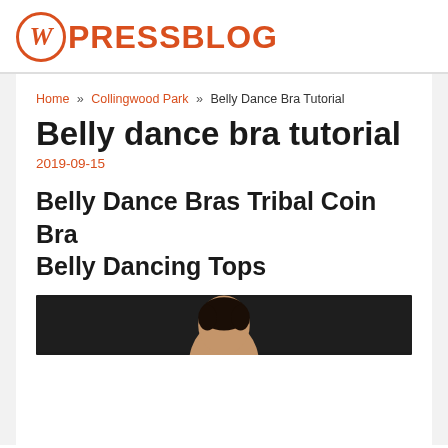WPRESSBLOG
Home » Collingwood Park » Belly Dance Bra Tutorial
Belly dance bra tutorial
2019-09-15
Belly Dance Bras Tribal Coin Bra Belly Dancing Tops
[Figure (photo): A person (dancer) photographed from above the shoulders against a dark background]